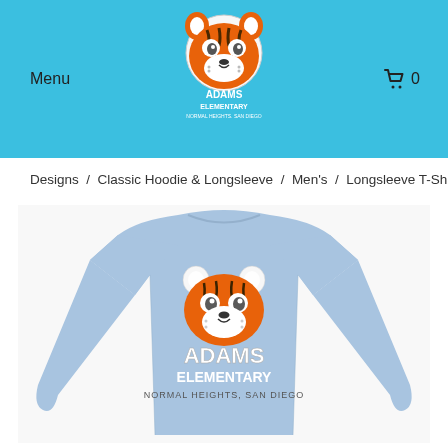Menu  Adams Elementary Normal Heights, San Diego  0
Designs  /  Classic Hoodie & Longsleeve  /  Men's  /  Longsleeve T-Shirt
[Figure (photo): Light blue long-sleeve t-shirt with Adams Elementary tiger mascot logo and text 'ADAMS ELEMENTARY NORMAL HEIGHTS, SAN DIEGO' printed on the chest]